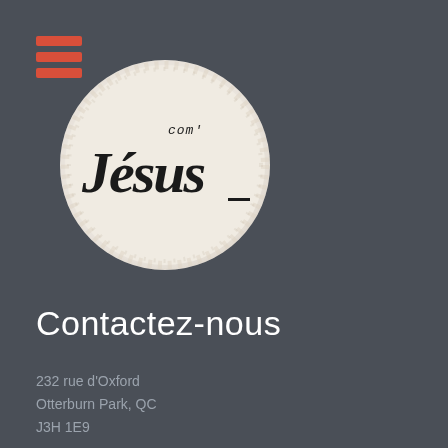[Figure (logo): Hamburger menu icon with three red horizontal bars]
[Figure (logo): Circular white/off-white logo with hand-lettered text reading 'com Jésus' in black calligraphy style on a textured background]
Contactez-nous
232 rue d'Oxford
Otterburn Park, QC
J3H 1E9